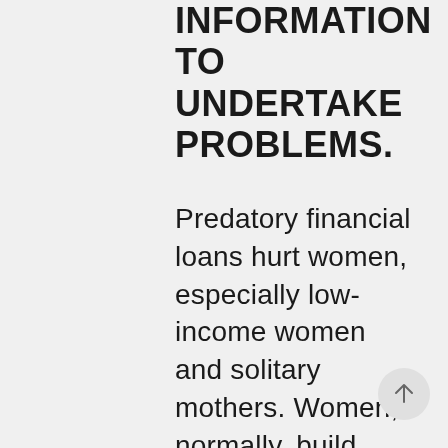INFORMATION TO UNDERTAKE PROBLEMS.
Predatory financial loans hurt women, especially low-income women and solitary mothers. Women, normally, build around boys would. This makes it more difficult for usa to pay for our very own statements